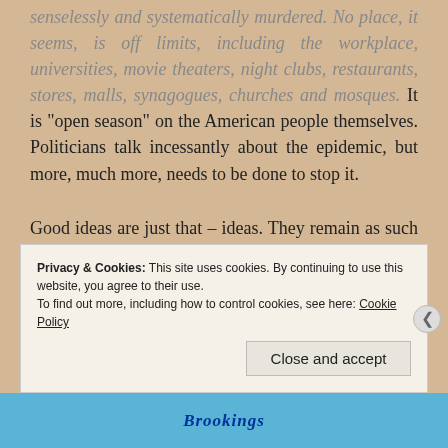senselessly and systematically murdered. No place, it seems, is off limits, including the workplace, universities, movie theaters, night clubs, restaurants, stores, malls, synagogues, churches and mosques. It is "open season" on the American people themselves. Politicians talk incessantly about the epidemic, but more, much more, needs to be done to stop it.
Good ideas are just that – ideas. They remain as such until they are implemented, brought to bear on the real world of flesh-and-blood human
Privacy & Cookies: This site uses cookies. By continuing to use this website, you agree to their use.
To find out more, including how to control cookies, see here: Cookie Policy
Close and accept